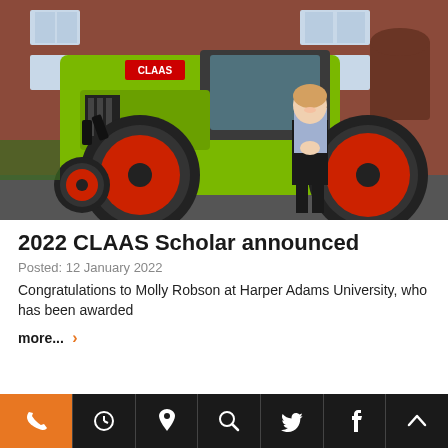[Figure (photo): A woman standing in front of a large green and black CLAAS tractor with red wheels, parked in front of a red brick university building.]
2022 CLAAS Scholar announced
Posted: 12 January 2022
Congratulations to Molly Robson at Harper Adams University, who has been awarded
more...
Phone | Clock | Location | Search | Twitter | Facebook | Up